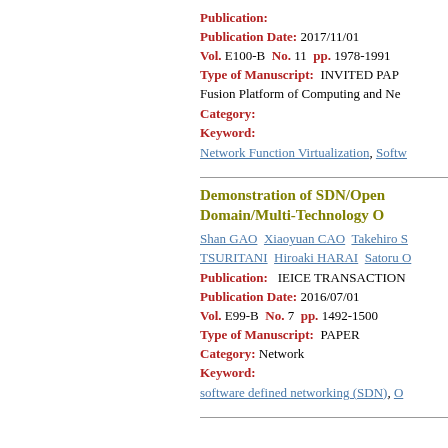Publication:
Publication Date: 2017/11/01
Vol. E100-B  No. 11  pp. 1978-1991
Type of Manuscript:  INVITED PAP
Fusion Platform of Computing and Ne
Category:
Keyword:
Network Function Virtualization, Softw
Demonstration of SDN/Open Domain/Multi-Technology O
Shan GAO  Xiaoyuan CAO  Takehiro S  TSURITANI  Hiroaki HARAI  Satoru O
Publication:   IEICE TRANSACTION
Publication Date: 2016/07/01
Vol. E99-B  No. 7  pp. 1492-1500
Type of Manuscript:  PAPER
Category: Network
Keyword:
software defined networking (SDN), O